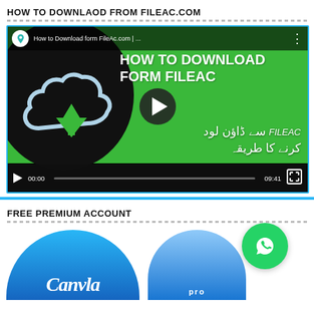HOW TO DOWNLAOD FROM FILEAC.COM
[Figure (screenshot): YouTube-style video thumbnail showing 'How to Download form FileAc.com' with a cloud download icon, play button, Urdu text, and a video progress bar showing 00:00 / 09:41]
FREE PREMIUM ACCOUNT
[Figure (screenshot): Icons for Canva and Pro/premium accounts with a WhatsApp green circle icon]